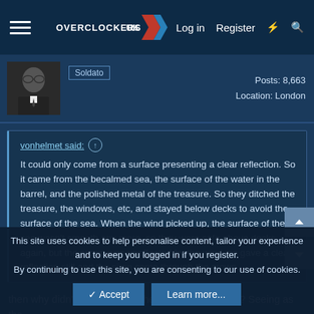Overclockers UK — Log in   Register
Soldato   Posts: 8,663   Location: London
vonhelmet said: ↑
It could only come from a surface presenting a clear reflection. So it came from the becalmed sea, the surface of the water in the barrel, and the polished metal of the treasure. So they ditched the treasure, the windows, etc, and stayed below decks to avoid the surface of the sea. When the wind picked up, the surface of the sea wasn't smooth any more, so they were safe above decks again, but the crown was unaffected by the wind, so gave a clear reflection still and the siren came through the crown.
then why didn't they just lock the treasure in a room? Seeing as the
This site uses cookies to help personalise content, tailor your experience and to keep you logged in if you register.
By continuing to use this site, you are consenting to our use of cookies.